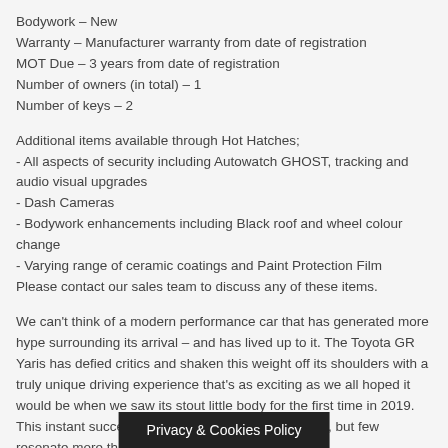Bodywork – New
Warranty – Manufacturer warranty from date of registration
MOT Due – 3 years from date of registration
Number of owners (in total) – 1
Number of keys – 2
Additional items available through Hot Hatches;
- All aspects of security including Autowatch GHOST, tracking and audio visual upgrades
- Dash Cameras
- Bodywork enhancements including Black roof and wheel colour change
- Varying range of ceramic coatings and Paint Protection Film
Please contact our sales team to discuss any of these items.
We can't think of a modern performance car that has generated more hype surrounding its arrival – and has lived up to it. The Toyota GR Yaris has defied critics and shaken this weight off its shoulders with a truly unique driving experience that's as exciting as we all hoped it would be when we saw its stout little body for the first time in 2019.
This instant success is com... ts, but few resonate more than the fa... e.
Privacy & Cookies Policy